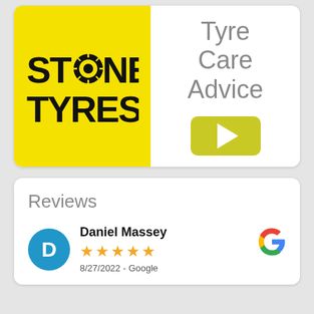[Figure (logo): Stone Tyres logo on yellow background with Tyre Care Advice text and play button]
Reviews
Daniel Massey
★★★★★
8/27/2022 - Google